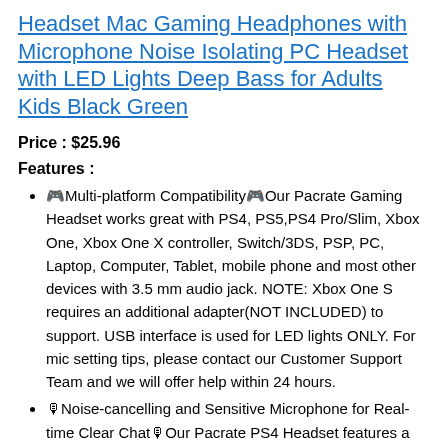Headset Mac Gaming Headphones with Microphone Noise Isolating PC Headset with LED Lights Deep Bass for Adults Kids Black Green
Price : $25.96
Features :
🎮Multi-platform Compatibility🎮Our Pacrate Gaming Headset works great with PS4, PS5,PS4 Pro/Slim, Xbox One, Xbox One X controller, Switch/3DS, PSP, PC, Laptop, Computer, Tablet, mobile phone and most other devices with 3.5 mm audio jack. NOTE: Xbox One S requires an additional adapter(NOT INCLUDED) to support. USB interface is used for LED lights ONLY. For mic setting tips, please contact our Customer Support Team and we will offer help within 24 hours.
🎙Noise-cancelling and Sensitive Microphone for Real-time Clear Chat🎙Our Pacrate PS4 Headset features a sensitive,